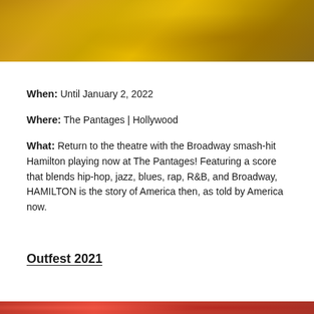[Figure (photo): Gold/yellow textured background image, top of page]
When: Until January 2, 2022
Where: The Pantages | Hollywood
What: Return to the theatre with the Broadway smash-hit Hamilton playing now at The Pantages! Featuring a score that blends hip-hop, jazz, blues, rap, R&B, and Broadway, HAMILTON is the story of America then, as told by America now.
Outfest 2021
[Figure (photo): Red/pink textured background strip at bottom of page]